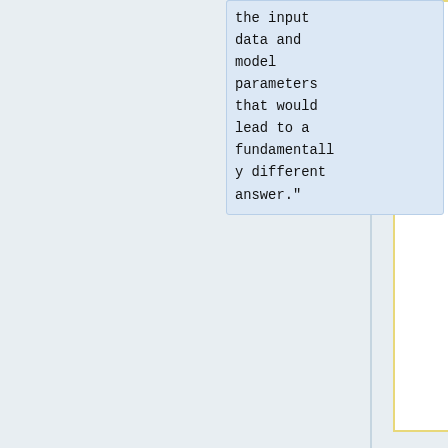the input data and model parameters that would lead to a fundamentally different answer."
** See John Houghton, Bruce Rasmussen, and Peter Sheehan, [http://www.arl.org/sparc/bm~doc/vufrpaa.pdf Economic and Social